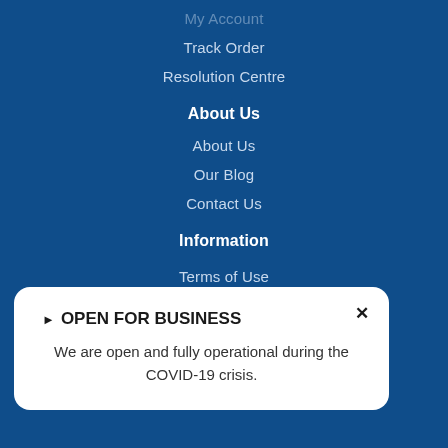My Account
Track Order
Resolution Centre
About Us
About Us
Our Blog
Contact Us
Information
Terms of Use
Privacy Policy
Returns Policy
▶ OPEN FOR BUSINESS
We are open and fully operational during the COVID-19 crisis.